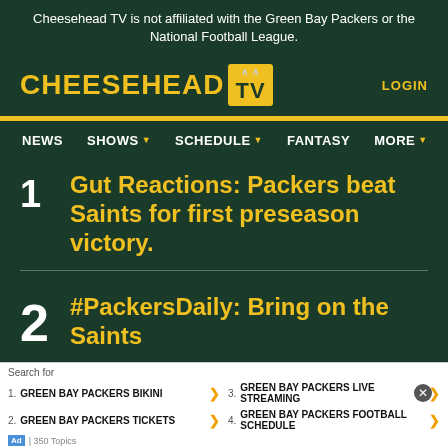Cheesehead TV is not affiliated with the Green Bay Packers or the National Football League.
[Figure (logo): Cheesehead TV logo with yellow text and TV icon]
LOGIN
NEWS  SHOWS  SCHEDULE  FANTASY  MORE
1. Gut Reactions: Packers beat Saints for first preseason victory.
2. #PackersDaily: Bring on the Saints
Search for: 1. GREEN BAY PACKERS BIKINI  2. GREEN BAY PACKERS TICKETS  3. GREEN BAY PACKERS LIVE STREAMING  4. GREEN BAY PACKERS FOOTBALL SCHEDULE  Ad | 350 Topics